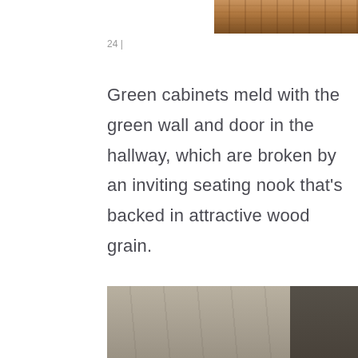[Figure (photo): Top portion of interior photo showing warm wood grain flooring/detail, cropped at top of page]
24 |
Green cabinets meld with the green wall and door in the hallway, which are broken by an inviting seating nook that's backed in attractive wood grain.
[Figure (photo): Interior architectural photo showing concrete ceiling and walls with a warmly lit wood-paneled alcove or staircase corridor in the center, dark pillar on the right, white wall and track lighting on the left, and a black metal shelf unit in the lower left]